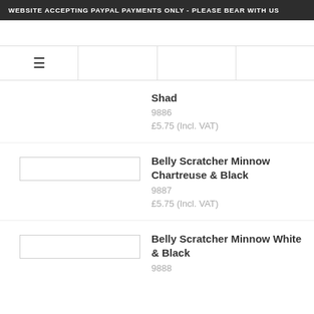WEBSITE ACCEPTING PAYPAL PAYMENTS ONLY - PLEASE BEAR WITH US
Shad
9886
£5.75 (Incl. VAT)
Belly Scratcher Minnow Chartreuse & Black
9887
£5.75 (Incl. VAT)
Belly Scratcher Minnow White & Black
9888